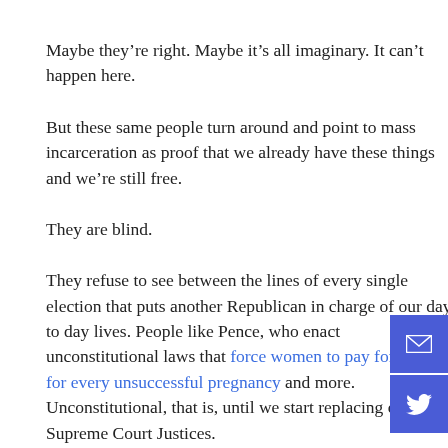Maybe they’re right. Maybe it’s all imaginary. It can’t happen here.
But these same people turn around and point to mass incarceration as proof that we already have these things and we’re still free.
They are blind.
They refuse to see between the lines of every single election that puts another Republican in charge of our day to day lives. People like Pence, who enact unconstitutional laws that force women to pay for burials for every unsuccessful pregnancy and more. Unconstitutional, that is, until we start replacing our Supreme Court Justices.
(partial line at bottom)